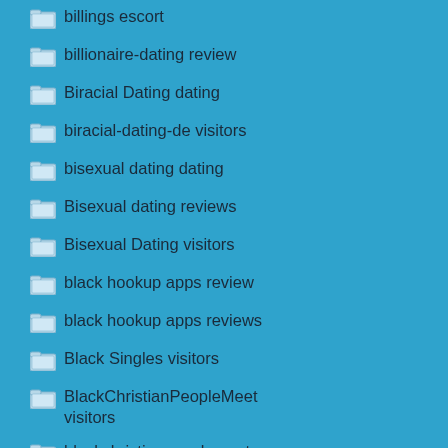billings escort
billionaire-dating review
Biracial Dating dating
biracial-dating-de visitors
bisexual dating dating
Bisexual dating reviews
Bisexual Dating visitors
black hookup apps review
black hookup apps reviews
Black Singles visitors
BlackChristianPeopleMeet visitors
blackchristianpeoplemeet-overzicht beoordelingen
blackcrush reviews
blackcupid review
blackcupid visitors
BlackDatingForFree visitors
BlackFling reviews
BlackFling visitors
BlackPeopleMeet review
BlackPeopleMeet reviews
BlackPeopleMeet visitors
BlackPlanet visitors